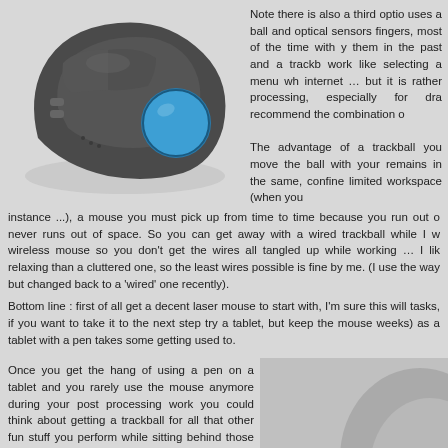[Figure (photo): A Logitech wireless trackball mouse with a blue ball on the right side, dark grey/black body, multiple buttons and scroll wheel visible.]
Note there is also a third option that uses a ball and optical sensors instead of fingers, most of the time with your thumb, them in the past and a trackball can work like selecting a menu while browsing internet … but it is rather slow for processing, especially for drawing. I recommend the combination of
The advantage of a trackball is that you move the ball with your hand but remains in the same, confined spot limited workspace (when you instance ...), a mouse you must pick up from time to time because you run out of never runs out of space. So you can get away with a wired trackball while I would wireless mouse so you don't get the wires all tangled up while working … I like relaxing than a cluttered one, so the least wires possible is fine by me. (I used the way but changed back to a 'wired' one recently).
Bottom line : first of all get a decent laser mouse to start with, I'm sure this will tasks, if you want to take it to the next step try a tablet, but keep the mouse weeks) as a tablet with a pen takes some getting used to.
Once you get the hang of using a pen on a tablet and you rarely use the mouse anymore during your post processing work you could think about getting a trackball for all that other fun stuff you perform while sitting behind those monitors.
So which mouse should you get ? I will take a Logitech any day, but that's just me, there is no reason why you shouldn't get another make, but what is really important is getting some real life touch … go to a local shop and take some mice in your hand to get a feel for them. I have a large retail store nearby
[Figure (photo): Partial view of what appears to be a grey/silver surface or object, partially visible in the bottom right corner.]